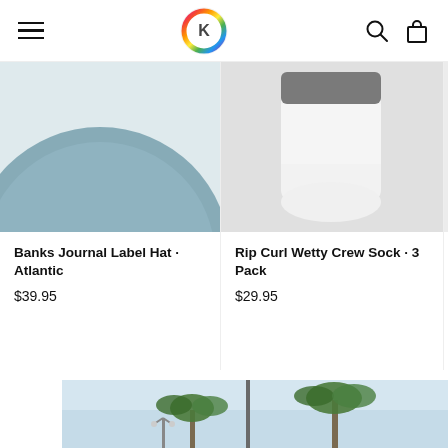[Figure (screenshot): Website navigation bar with hamburger menu, circular rainbow logo, search icon, and shopping bag icon]
[Figure (photo): Product image of Banks Journal Label Hat in Atlantic (teal blue, partial view)]
Banks Journal Label Hat · Atlantic
$39.95
[Figure (photo): Product image of Rip Curl Wetty Crew Sock 3 Pack (grey/white socks)]
Rip Curl Wetty Crew Sock · 3 Pack
$29.95
[Figure (photo): Partial product card for Banks Journal item with strikethrough price $74 and Save text in pink]
[Figure (photo): Beach scene with palm trees and light pole against a light blue sky]